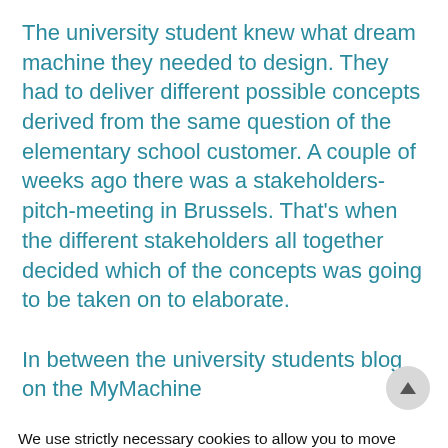The university student knew what dream machine they needed to design. They had to deliver different possible concepts derived from the same question of the elementary school customer. A couple of weeks ago there was a stakeholders-pitch-meeting in Brussels. That's when the different stakeholders all together decided which of the concepts was going to be taken on to elaborate.

In between the university students blog on the MyMachine
We use strictly necessary cookies to allow you to move around the website and use its features. Please see Settings for further information. By clicking "Accept", you consent to the use of these cookies.
CCPA Notice: we do not sell any personal information.
Settings  Accept